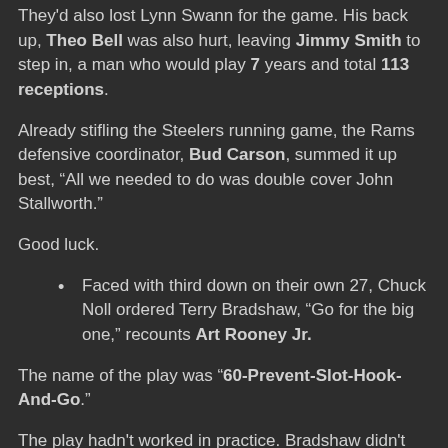They'd also lost Lynn Swann for the game. His back up, Theo Bell was also hurt, leaving Jimmy Smith to step in, a man who would play 7 years and total 113 receptions.
Already stifling the Steelers running game, the Rams defensive coordinator, Bud Carson, summed it up best, “All we needed to do was double cover John Stallworth.”
Good luck.
Faced with third down on their own 27, Chuck Noll ordered Terry Bradshaw, “Go for the big one,” recounts Art Rooney Jr.
The name of the play was “60-Prevent-Slot-Hook-And-Go.”
The play hadn't worked in practice. Bradshaw didn't think he could do it. And Stallworth had already beaten it...